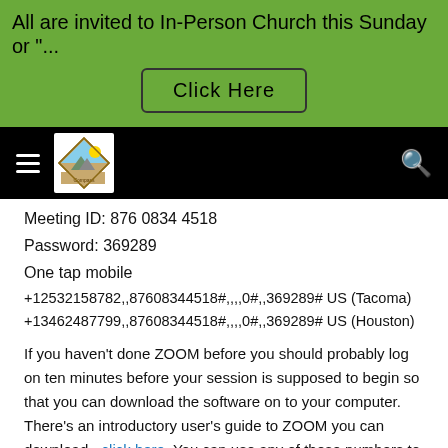All are invited to In-Person Church this Sunday or "...
[Figure (other): Green banner with 'Click Here' button]
[Figure (logo): Black navigation bar with hamburger menu, church logo diamond shape with mountain and sun, and search icon]
Meeting ID: 876 0834 4518
Password: 369289
One tap mobile
+12532158782,,87608344518#,,,,0#,,369289# US (Tacoma)
+13462487799,,87608344518#,,,,0#,,369289# US (Houston)
If you haven't done ZOOM before you should probably log on ten minutes before your session is supposed to begin so that you can download the software on to your computer. There's an introductory user's guide to ZOOM you can download - click here. You can use any of these numbers to call into a ZOOM meeting. If you access ZOOM this way you will need the meeting ID number and password. If your calling plan charges you for long-distance call, you will